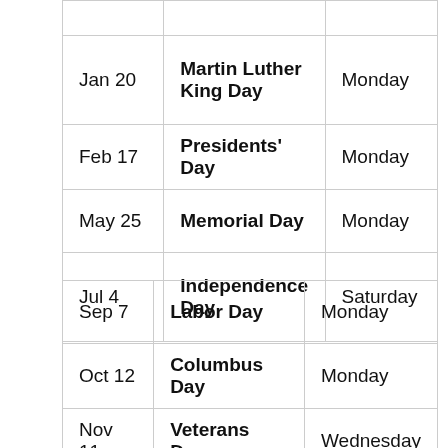| Date | Holiday | Day |
| --- | --- | --- |
| Jan 20 | Martin Luther King Day | Monday |
| Feb 17 | Presidents' Day | Monday |
| May 25 | Memorial Day | Monday |
| Jul 4 | Independence Day | Saturday |
| Sep 7 | Labor Day | Monday |
| Oct 12 | Columbus Day | Monday |
| Nov 11 | Veterans Day | Wednesday |